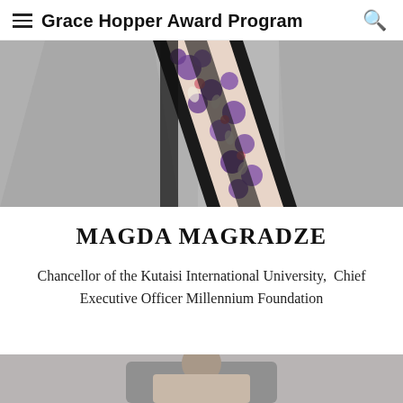Grace Hopper Award Program
[Figure (photo): Close-up photo of a person in a grey blazer wearing a floral patterned sash/scarf with purple and pink flowers on a black background]
MAGDA MAGRADZE
Chancellor of the Kutaisi International University, Chief Executive Officer Millennium Foundation
[Figure (photo): Partial photo of another person, cropped at the bottom edge of the page]